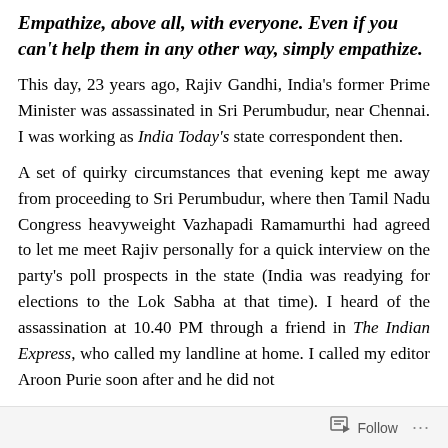Empathize, above all, with everyone. Even if you can't help them in any other way, simply empathize.
This day, 23 years ago, Rajiv Gandhi, India's former Prime Minister was assassinated in Sri Perumbudur, near Chennai. I was working as India Today's state correspondent then.
A set of quirky circumstances that evening kept me away from proceeding to Sri Perumbudur, where then Tamil Nadu Congress heavyweight Vazhapadi Ramamurthi had agreed to let me meet Rajiv personally for a quick interview on the party's poll prospects in the state (India was readying for elections to the Lok Sabha at that time). I heard of the assassination at 10.40 PM through a friend in The Indian Express, who called my landline at home. I called my editor Aroon Purie soon after and he did not
Follow ···